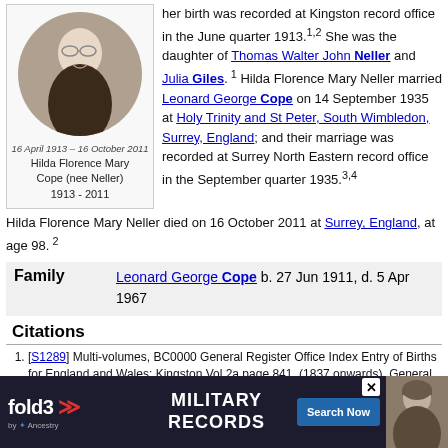[Figure (photo): Oval portrait photo of Hilda Florence Mary Cope (nee Neller), an elderly woman, with caption '16 April 1913 – 16 October 2011' below the photo inside the box.]
Hilda Florence Mary Cope (nee Neller) 1913 - 2011
her birth was recorded at Kingston record office in the June quarter 1913.1,2 She was the daughter of Thomas Walter John Neller and Julia Giles.1 Hilda Florence Mary Neller married Leonard George Cope on 14 September 1935 at Holy Trinity and St Peter, South Wimbledon, Surrey, England; and their marriage was recorded at Surrey North Eastern record office in the September quarter 1935.3,4
Hilda Florence Mary Neller died on 16 October 2011 at Surrey, England, at age 98.2
| Family |  |
| --- | --- |
| Family | Leonard George Cope b. 27 Jun 1911, d. 5 Apr 1967 |
Citations
[S1289] Multi-volumes, BC0000 General Register Office Index Entry of Births for England and Wales: Kingston Vol 2a page 841, (1837 onwards), General Register Office, PO Box 2, So...
[S...] (ht... and
[Figure (screenshot): fold3 MILITARY RECORDS advertisement banner with Search Now button and ancestry logo]